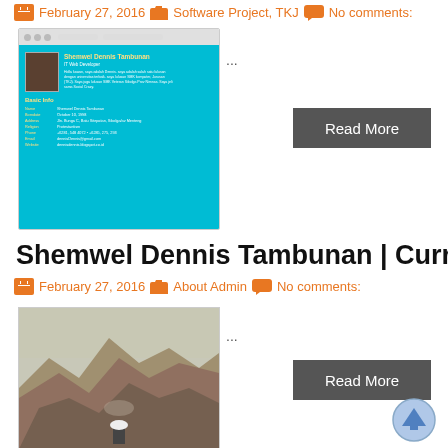February 27, 2016  Software Project, TKJ  No comments:
[Figure (screenshot): Screenshot of a curriculum vitae web page with cyan/blue background showing profile photo, name Shemwel Dennis Tambunan, and basic info fields]
...
Read More
Shemwel Dennis Tambunan | Curriculum Vitae
February 27, 2016  About Admin  No comments:
[Figure (photo): Photo of a mountainous landscape with a person wearing a white hard hat standing in front]
...
Read More
[Figure (other): Circular blue scroll-to-top arrow button]